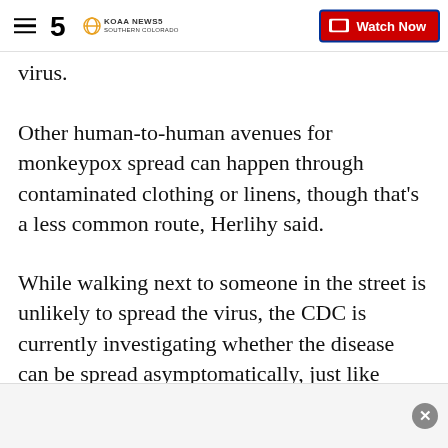KOAA NEWS5 SOUTHERN COLORADO — Watch Now
virus.
Other human-to-human avenues for monkeypox spread can happen through contaminated clothing or linens, though that's a less common route, Herlihy said.
While walking next to someone in the street is unlikely to spread the virus, the CDC is currently investigating whether the disease can be spread asymptomatically, just like COVID-19. Health officials are also investigating whether the virus could be present in semen, vaginal fluids, and fecal matter.